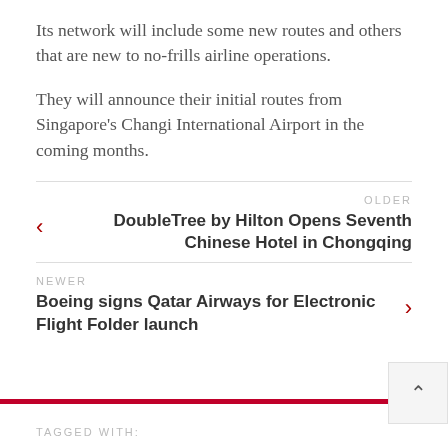Its network will include some new routes and others that are new to no-frills airline operations.
They will announce their initial routes from Singapore's Changi International Airport in the coming months.
OLDER
DoubleTree by Hilton Opens Seventh Chinese Hotel in Chongqing
NEWER
Boeing signs Qatar Airways for Electronic Flight Folder launch
TAGGED WITH: